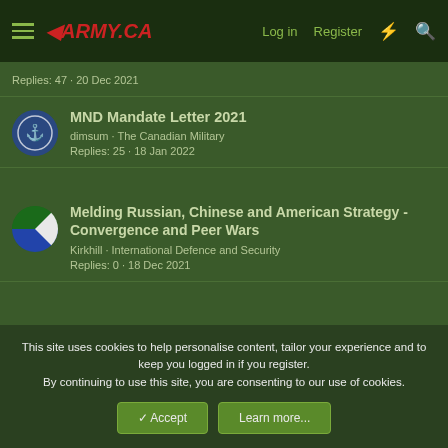ARMY.CA | Log in | Register
Replies: 47 · 20 Dec 2021
MND Mandate Letter 2021
dimsum · The Canadian Military
Replies: 25 · 18 Jan 2022
Melding Russian, Chinese and American Strategy - Convergence and Peer Wars
Kirkhill · International Defence and Security
Replies: 0 · 18 Dec 2021
Red Teaming the Government of Canada
FSTO · International Defence and Security
Replies: 5 · 28 Jun 2022
This site uses cookies to help personalise content, tailor your experience and to keep you logged in if you register.
By continuing to use this site, you are consenting to our use of cookies.